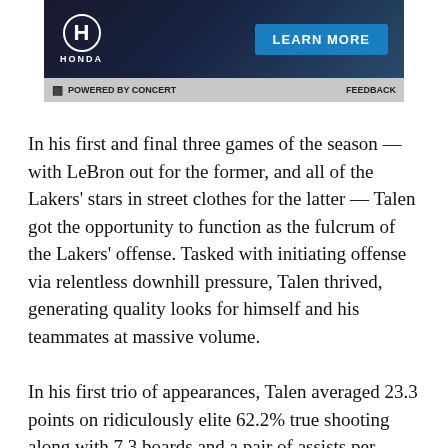[Figure (other): Honda advertisement banner with Honda logo on left and 'LEARN MORE' blue button on right, dark blue gradient background, with 'POWERED BY CONCERT' and 'FEEDBACK' bar below]
In his first and final three games of the season — with LeBron out for the former, and all of the Lakers' stars in street clothes for the latter — Talen got the opportunity to function as the fulcrum of the Lakers' offense. Tasked with initiating offense via relentless downhill pressure, Talen thrived, generating quality looks for himself and his teammates at massive volume.
In his first trio of appearances, Talen averaged 23.3 points on ridiculously elite 62.2% true shooting along with 7.3 boards and a pair of assists per game. In his final three, he put up 21.7 points on below average, but forgivable — at least for a 21-year-old — 53.5% true shooting along with four rebounds, 3.7 assists, and a